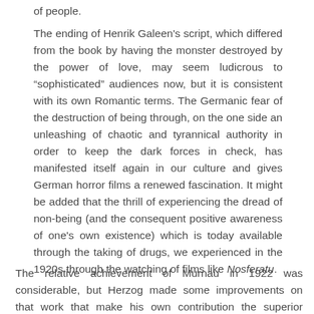of people.
The ending of Henrik Galeen's script, which differed from the book by having the monster destroyed by the power of love, may seem ludicrous to “sophisticated” audiences now, but it is consistent with its own Romantic terms. The Germanic fear of the destruction of being through, on the one side an unleashing of chaotic and tyrannical authority in order to keep the dark forces in check, has manifested itself again in our culture and gives German horror films a renewed fascination. It might be added that the thrill of experiencing the dread of non-being (and the consequent positive awareness of one's own existence) which is today available through the taking of drugs, we experienced in the 1920s through the watching of films like Nosferatu.
The relative achievement of Murnau in 1922 was considerable, but Herzog made some improvements on that work that make his own contribution the superior viewing